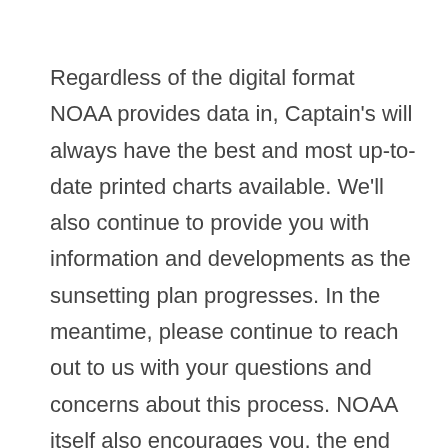Regardless of the digital format NOAA provides data in, Captain's will always have the best and most up-to-date printed charts available. We'll also continue to provide you with information and developments as the sunsetting plan progresses. In the meantime, please continue to reach out to us with your questions and concerns about this process. NOAA itself also encourages you, the end user of its charts, to give feedback through their online customer support